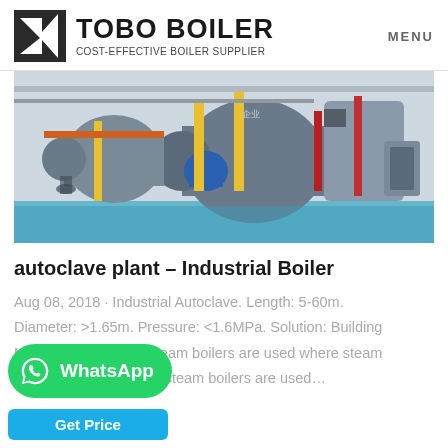[Figure (logo): TOBO BOILER logo with stylized icon and tagline COST-EFFECTIVE BOILER SUPPLIER]
MENU
[Figure (photo): Industrial boiler facility interior showing large cylindrical boilers with yellow and red pipes, blue floor, bright lighting]
autoclave plant – Industrial Boiler
Aug 08, 2018 · Industrial Autoclave. Length: 5-60m. Diameter: >1.65m. Pressure: <1.6MPa. Solution: Building Material, AAC plant. Steam boilers are used where steam d. Hence, steam boilers are used…
[Figure (other): WhatsApp green button with icon]
[Figure (other): Get Price blue button]